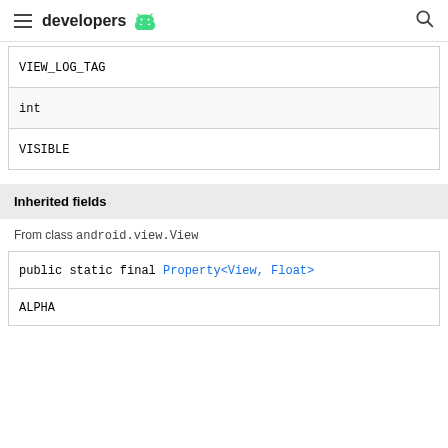developers
| VIEW_LOG_TAG |
| int |
| VISIBLE |
Inherited fields
From class android.view.View
| public static final Property<View, Float> |
| ALPHA |